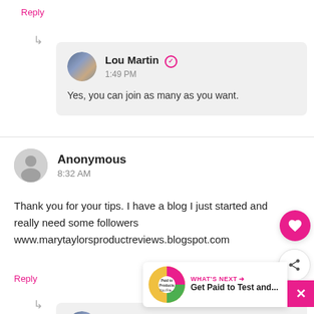Reply
Lou Martin · 1:49 PM
Yes, you can join as many as you want.
Anonymous · 8:32 AM
Thank you for your tips. I have a blog I just started and really need some followers www.marytaylorsproductreviews.blogspot.com
Reply
Lou Martin · 5:45 PM
WHAT'S NEXT → Get Paid to Test and...